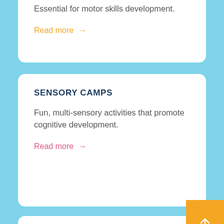SPORTS DAYS
Essential for motor skills development.
Read more →
SENSORY CAMPS
Fun, multi-sensory activities that promote cognitive development.
Read more →
ANNUAL CONCERTS
Embracing the arts to empower children.